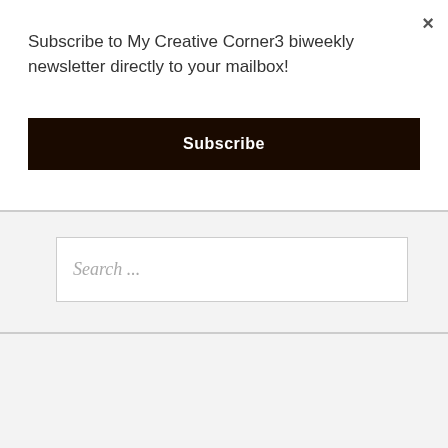Subscribe to My Creative Corner3 biweekly newsletter directly to your mailbox!
Subscribe
Search ...
My Creative Corner3 Facebook Group